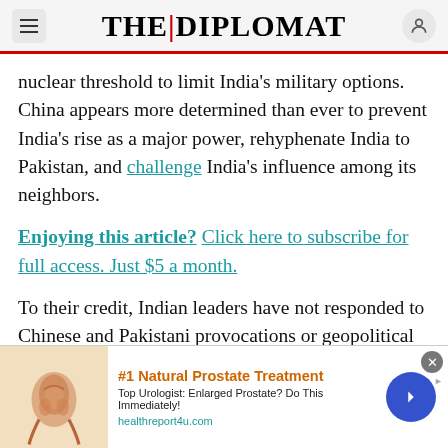THE DIPLOMAT
nuclear threshold to limit India’s military options. China appears more determined than ever to prevent India’s rise as a major power, rehyphenate India to Pakistan, and challenge India’s influence among its neighbors.
Enjoying this article? Click here to subscribe for full access. Just $5 a month.
To their credit, Indian leaders have not responded to Chinese and Pakistani provocations or geopolitical uncertainty by embracing nuclear weapons. The languid pace at which India has developed and deployed its arsenal indicates it is
[Figure (infographic): Advertisement banner for #1 Natural Prostate Treatment. Shows an anatomical illustration of a prostate on the left, ad text in the center, and a blue arrow button on the right. URL: healthreport4u.com]